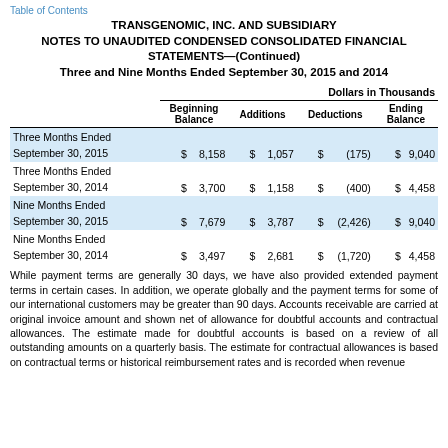Table of Contents
TRANSGENOMIC, INC. AND SUBSIDIARY
NOTES TO UNAUDITED CONDENSED CONSOLIDATED FINANCIAL STATEMENTS—(Continued)
Three and Nine Months Ended September 30, 2015 and 2014
|  | Beginning Balance | Additions | Deductions | Ending Balance |
| --- | --- | --- | --- | --- |
| Three Months Ended September 30, 2015 | $ 8,158 | $ 1,057 | $ (175) | $ 9,040 |
| Three Months Ended September 30, 2014 | $ 3,700 | $ 1,158 | $ (400) | $ 4,458 |
| Nine Months Ended September 30, 2015 | $ 7,679 | $ 3,787 | $ (2,426) | $ 9,040 |
| Nine Months Ended September 30, 2014 | $ 3,497 | $ 2,681 | $ (1,720) | $ 4,458 |
While payment terms are generally 30 days, we have also provided extended payment terms in certain cases. In addition, we operate globally and the payment terms for some of our international customers may be greater than 90 days. Accounts receivable are carried at original invoice amount and shown net of allowance for doubtful accounts and contractual allowances. The estimate made for doubtful accounts is based on a review of all outstanding amounts on a quarterly basis. The estimate for contractual allowances is based on contractual terms or historical reimbursement rates and is recorded when revenue